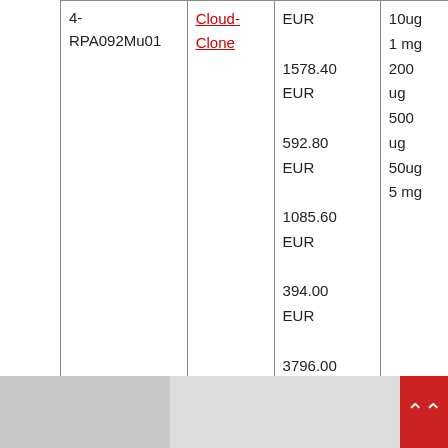| Product ID | Supplier | Price | Quantity |
| --- | --- | --- | --- |
| 4-RPA092Mu01 | Cloud-Clone | EUR

1578.40
EUR

592.80
EUR

1085.60
EUR

394.00
EUR

3796.00 | 10ug
1 mg
200 ug
500 ug
50ug
5 mg |
| Description: Recombinant Mouse Macrophage Inflammatory Protein 1 Alpha expressed in: E.coli |  |  |  |